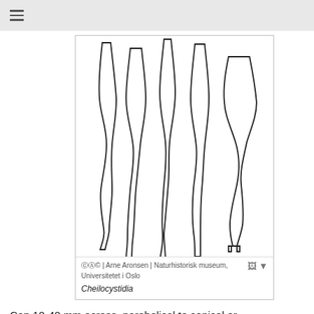≡
[Figure (illustration): Scientific illustration of five cheilocystidia (microscopic fungal structures), shown as elongated club-shaped or spindle-shaped outlines in black ink on white background.]
© ① © | Arne Aronsen | Naturhistorisk museum, Universitetet i Oslo
Cheilocystidia
Cap 10-40 mm across, parabolical to conical or campanulate, becoming broadly convex to applanate, ±umbonate, ±sulcate, translucent-striate, dry, slightly lubricous when moist, very dark sepia brown to black or even bluish black at the centre, sepia brown farther outwards, fading to grey-brown with age, margin paler